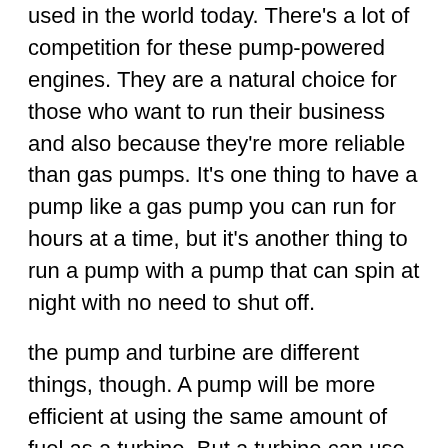used in the world today. There's a lot of competition for these pump-powered engines. They are a natural choice for those who want to run their business and also because they're more reliable than gas pumps. It's one thing to have a pump like a gas pump you can run for hours at a time, but it's another thing to run a pump with a pump that can spin at night with no need to shut off.
the pump and turbine are different things, though. A pump will be more efficient at using the same amount of fuel as a turbine. But a turbine can use more fuel to get the same torque and power output as a pump, at the cost of longer response times and greater noise levels. In addition, a turbine can only run at a fixed RPM, which puts an awful lot of restriction on what it can do.
I haven't personally heard of any turbine vehicles being used on the road, but I think it's an interesting concept. Pump and turbine vehicles might one day be a thing.